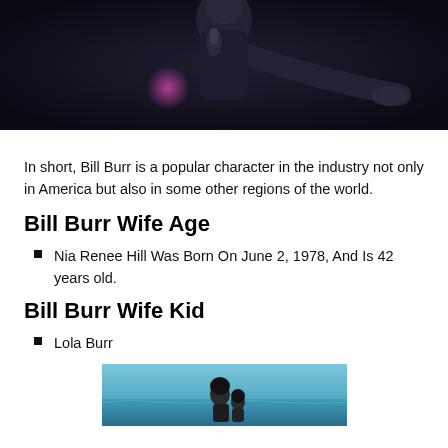[Figure (photo): Photo of a man in dark clothing holding a microphone on a dark stage with a purple light glow in the background]
In short, Bill Burr is a popular character in the industry not only in America but also in some other regions of the world.
Bill Burr Wife Age
Nia Renee Hill Was Born On June 2, 1978, And Is 42 years old.
Bill Burr Wife Kid
Lola Burr
[Figure (photo): Photo of two people (likely a parent and child) standing in the ocean/sea water, seen from behind]